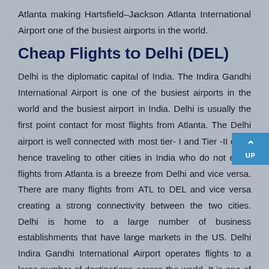Atlanta making Hartsfield–Jackson Atlanta International Airport one of the busiest airports in the world.
Cheap Flights to Delhi (DEL)
Delhi is the diplomatic capital of India. The Indira Gandhi International Airport is one of the busiest airports in the world and the busiest airport in India. Delhi is usually the first point contact for most flights from Atlanta. The Delhi airport is well connected with most tier- I and Tier -II cities hence traveling to other cities in India who do not enjoy flights from Atlanta is a breeze from Delhi and vice versa. There are many flights from ATL to DEL and vice versa creating a strong connectivity between the two cities. Delhi is home to a large number of business establishments that have large markets in the US. Delhi Indira Gandhi International Airport operates flights to a large number of destinations across the world. It is one of the very few airports